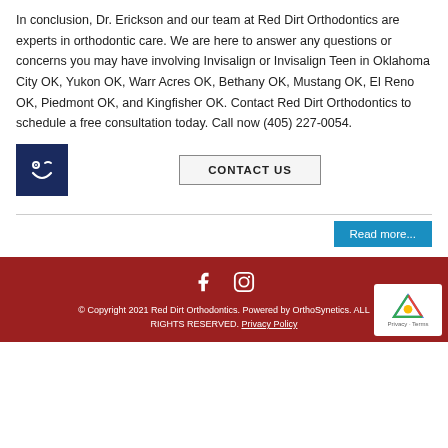In conclusion, Dr. Erickson and our team at Red Dirt Orthodontics are experts in orthodontic care. We are here to answer any questions or concerns you may have involving Invisalign or Invisalign Teen in Oklahoma City OK, Yukon OK, Warr Acres OK, Bethany OK, Mustang OK, El Reno OK, Piedmont OK, and Kingfisher OK. Contact Red Dirt Orthodontics to schedule a free consultation today. Call now (405) 227-0054.
[Figure (logo): Red Dirt Orthodontics smiley face logo on dark blue background]
CONTACT US
Read more...
© Copyright 2021 Red Dirt Orthodontics. Powered by OrthoSynetics. ALL RIGHTS RESERVED. Privacy Policy